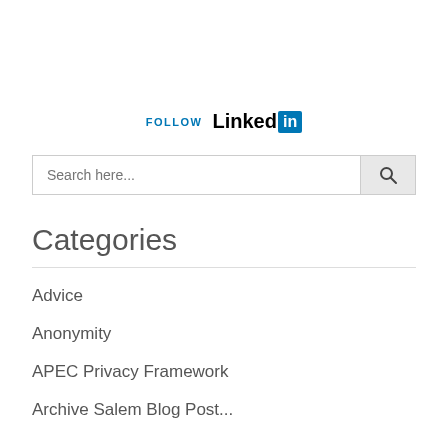[Figure (logo): LinkedIn follow logo with 'FOLLOW' text in blue and LinkedIn wordmark with blue 'in' icon box]
Search here...
Categories
Advice
Anonymity
APEC Privacy Framework
Archive Salem Blog Post...